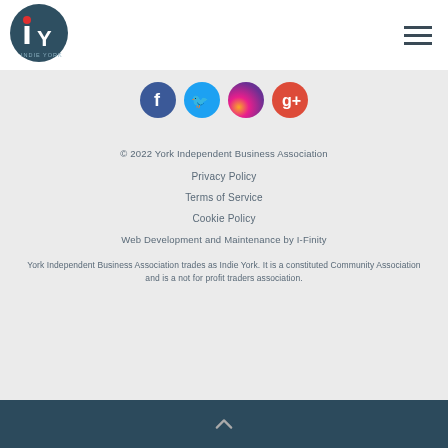Indie York logo and navigation menu
[Figure (logo): Indie York circular logo with iY text on dark teal background]
[Figure (illustration): Social media icons row: Facebook (blue), Twitter (light blue), Instagram (purple/red), Google+ (red)]
© 2022 York Independent Business Association
Privacy Policy
Terms of Service
Cookie Policy
Web Development and Maintenance by I-Finity
York Independent Business Association trades as Indie York. It is a constituted Community Association and is a not for profit traders association.
Back to top chevron